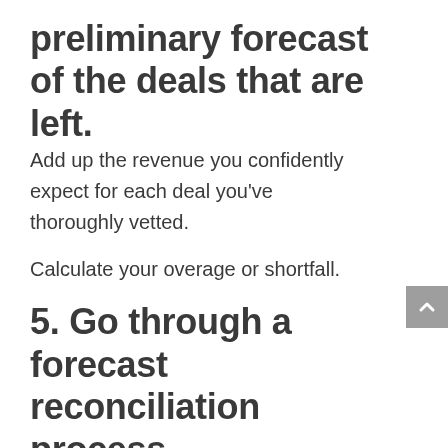preliminary forecast of the deals that are left.
Add up the revenue you confidently expect for each deal you've thoroughly vetted.
Calculate your overage or shortfall.
5. Go through a forecast reconciliation process.
If your vetted forecast is short of your revenue goal, reconcile your forecast